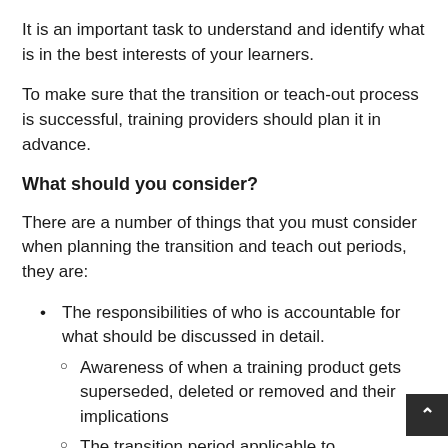It is an important task to understand and identify what is in the best interests of your learners.
To make sure that the transition or teach-out process is successful, training providers should plan it in advance.
What should you consider?
There are a number of things that you must consider when planning the transition and teach out periods, they are:
The responsibilities of who is accountable for what should be discussed in detail.
Awareness of when a training product gets superseded, deleted or removed and their implications
The transition period applicable to